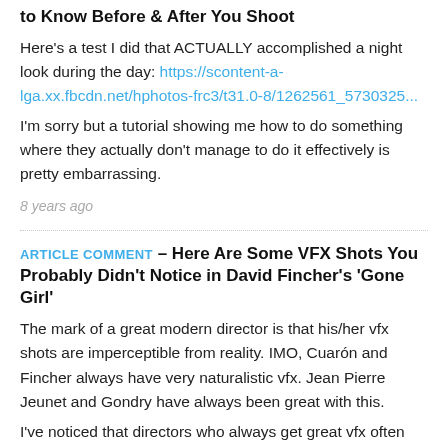to Know Before & After You Shoot
Here's a test I did that ACTUALLY accomplished a night look during the day: https://scontent-a-lga.xx.fbcdn.net/hphotos-frc3/t31.0-8/1262561_5730325...
I'm sorry but a tutorial showing me how to do something where they actually don't manage to do it effectively is pretty embarrassing.
8 years ago
ARTICLE COMMENT – Here Are Some VFX Shots You Probably Didn't Notice in David Fincher's 'Gone Girl'
The mark of a great modern director is that his/her vfx shots are imperceptible from reality. IMO, Cuarón and Fincher always have very naturalistic vfx. Jean Pierre Jeunet and Gondry have always been great with this.
I've noticed that directors who always get great vfx often come from the commercial world.
8 years ago